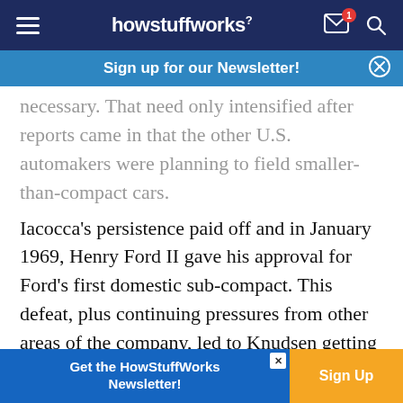howstuffworks
Sign up for our Newsletter!
necessary. That need only intensified after reports came in that the other U.S. automakers were planning to field smaller-than-compact cars.
Iacocca's persistence paid off and in January 1969, Henry Ford II gave his approval for Ford's first domestic sub-compact. This defeat, plus continuing pressures from other areas of the company, led to Knudsen getting the word from HFII that his efforts as president were "just not working." In due time, the
Get the HowStuffWorks Newsletter! Sign Up